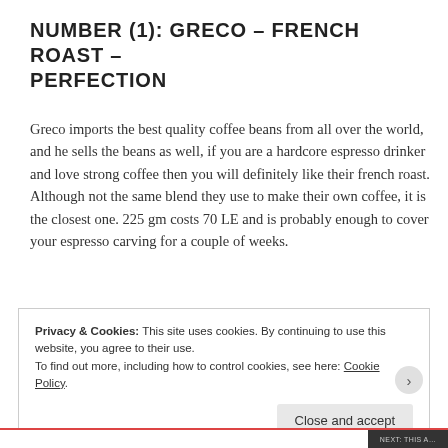NUMBER (1): GRECO – FRENCH ROAST – PERFECTION
Greco imports the best quality coffee beans from all over the world, and he sells the beans as well, if you are a hardcore espresso drinker and love strong coffee then you will definitely like their french roast. Although not the same blend they use to make their own coffee, it is the closest one. 225 gm costs 70 LE and is probably enough to cover your espresso carving for a couple of weeks.
Privacy & Cookies: This site uses cookies. By continuing to use this website, you agree to their use. To find out more, including how to control cookies, see here: Cookie Policy
NEXT: THIS A...